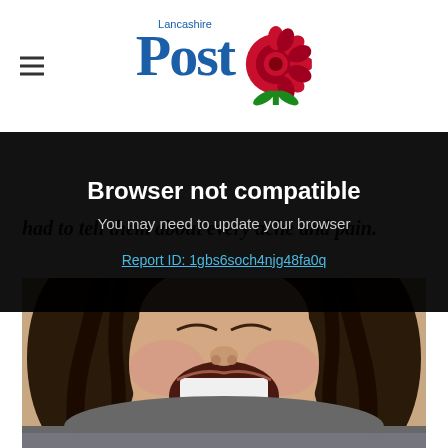Lancashire Post
had to tell them about every ache and pain.
Browser not compatible
You may need to update your browser
Report ID: 1gbs6soch4njg48fa0q
[Figure (photo): Close-up photo of a smiling woman with dark wavy hair, laughing with mouth open showing white teeth, wearing a grey top]